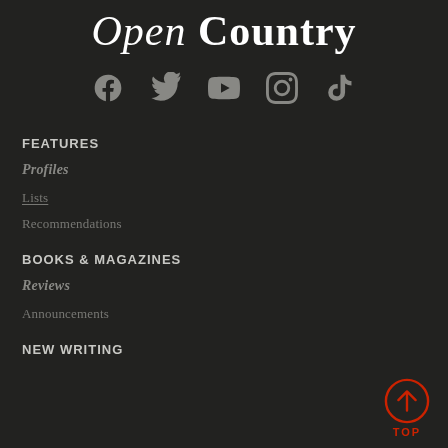Open Country
[Figure (infographic): Row of five social media icons: Facebook, Twitter, YouTube, Instagram, TikTok]
FEATURES
Profiles
Lists
Recommendations
BOOKS & MAGAZINES
Reviews
Announcements
NEW WRITING